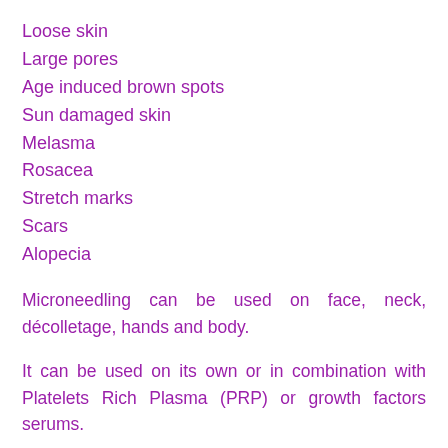Loose skin
Large pores
Age induced brown spots
Sun damaged skin
Melasma
Rosacea
Stretch marks
Scars
Alopecia
Microneedling can be used on face, neck, décolletage, hands and body.
It can be used on its own or in combination with Platelets Rich Plasma (PRP) or growth factors serums.